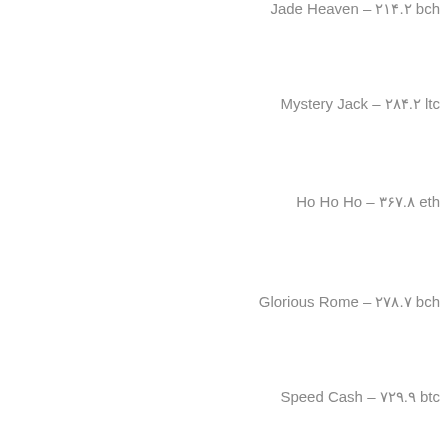Jade Heaven – ۲۱۴.۲ bch
Mystery Jack – ۲۸۴.۲ ltc
Ho Ho Ho – ۳۶۷.۸ eth
Glorious Rome – ۲۷۸.۷ bch
Speed Cash – ۷۲۹.۹ btc